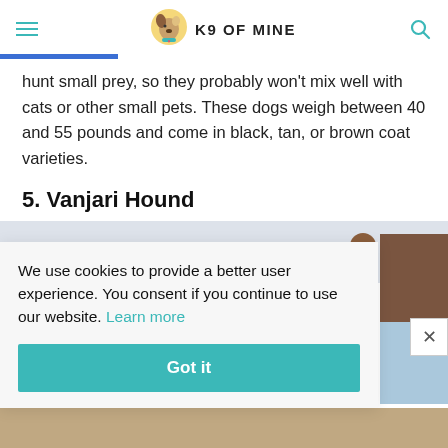K9 OF MINE
hunt small prey, so they probably won't mix well with cats or other small pets. These dogs weigh between 40 and 55 pounds and come in black, tan, or brown coat varieties.
5. Vanjari Hound
[Figure (photo): Partial photo of a dog, mostly obscured by cookie consent banner]
We use cookies to provide a better user experience. You consent if you continue to use our website. Learn more
Got it
[Figure (photo): Partial photo strip at bottom of page showing outdoor scene]